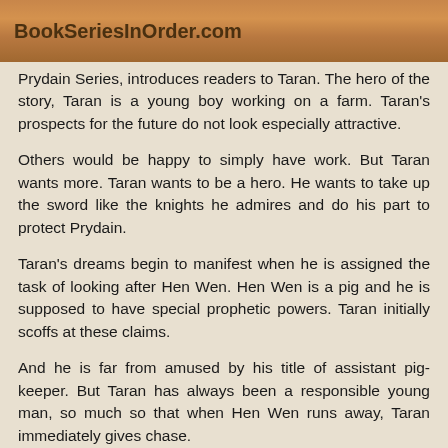BookSeriesInOrder.com
Prydain Series, introduces readers to Taran. The hero of the story, Taran is a young boy working on a farm. Taran's prospects for the future do not look especially attractive.
Others would be happy to simply have work. But Taran wants more. Taran wants to be a hero. He wants to take up the sword like the knights he admires and do his part to protect Prydain.
Taran's dreams begin to manifest when he is assigned the task of looking after Hen Wen. Hen Wen is a pig and he is supposed to have special prophetic powers. Taran initially scoffs at these claims.
And he is far from amused by his title of assistant pig-keeper. But Taran has always been a responsible young man, so much so that when Hen Wen runs away, Taran immediately gives chase.
The decision sets Taran on a collision course with destiny.